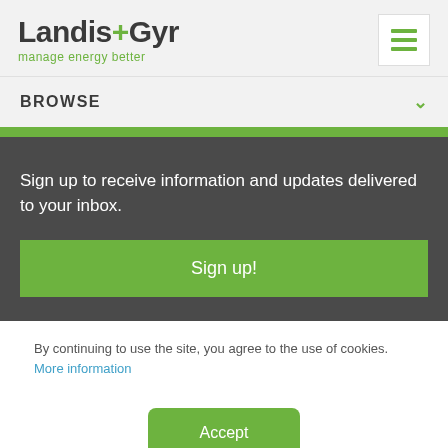[Figure (logo): Landis+Gyr logo with tagline 'manage energy better']
BROWSE
Sign up to receive information and updates delivered to your inbox.
Sign up!
By continuing to use the site, you agree to the use of cookies. More information
Accept